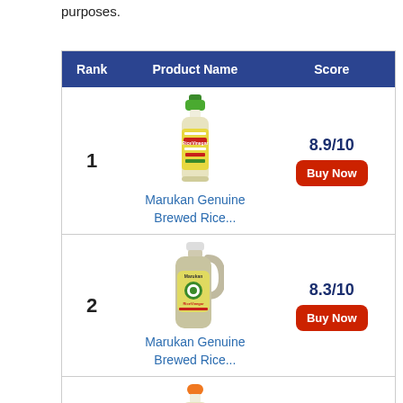purposes.
| Rank | Product Name | Score |
| --- | --- | --- |
| 1 | Marukan Genuine Brewed Rice... | 8.9/10 |
| 2 | Marukan Genuine Brewed Rice... | 8.3/10 |
| 3 | ... | ... |